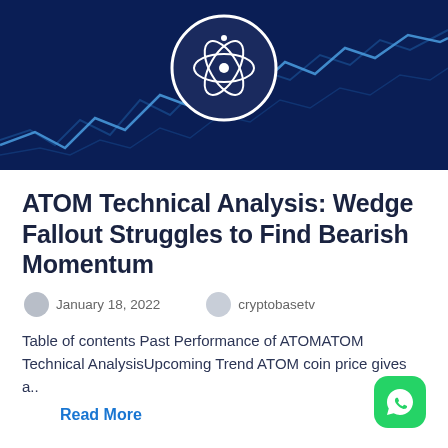[Figure (illustration): Dark blue hero banner with a stock chart line in the background and a circular icon featuring an atom/cosmos symbol (white lines on dark navy circle) in the center top.]
ATOM Technical Analysis: Wedge Fallout Struggles to Find Bearish Momentum
January 18, 2022   cryptobasetv
Table of contents Past Performance of ATOMATOM Technical AnalysisUpcoming Trend ATOM coin price gives a..
Read More